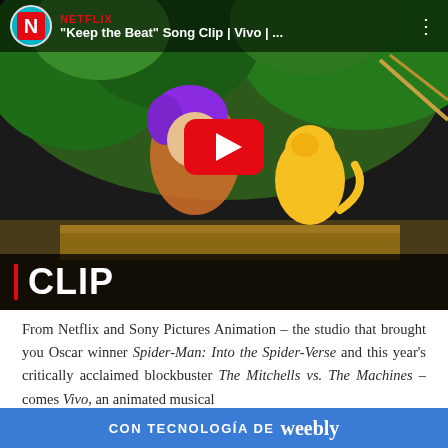[Figure (screenshot): YouTube video thumbnail showing a Netflix clip titled 'Keep the Beat' Song Clip | Vivo | ... featuring animated characters from the movie Vivo — a girl with purple hair and a yellow monkey — in a jungle setting. Large red YouTube play button in center. 'CLIP' text with red bar in lower left. Netflix logo and channel name in top bar.]
From Netflix and Sony Pictures Animation – the studio that brought you Oscar winner Spider-Man: Into the Spider-Verse and this year's critically acclaimed blockbuster The Mitchells vs. The Machines – comes Vivo, an animated musical
CON TECNOLOGÍA DE weebly